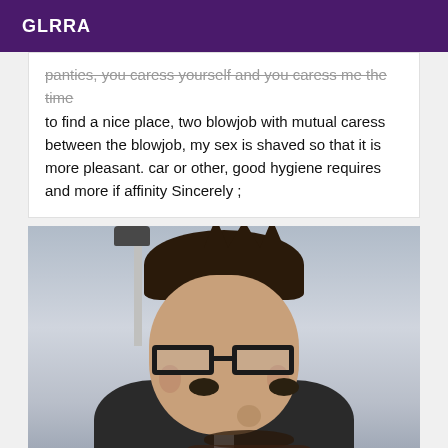GLRRA
panties, you caress yourself and you caress me the time to find a nice place, two blowjob with mutual caress between the blowjob, my sex is shaved so that it is more pleasant. car or other, good hygiene requires and more if affinity Sincerely ;
[Figure (photo): Selfie of a man with glasses, dark hair with spikes, beard and mustache, wearing dark clothing, with a cloudy sky and a lamp post in the background.]